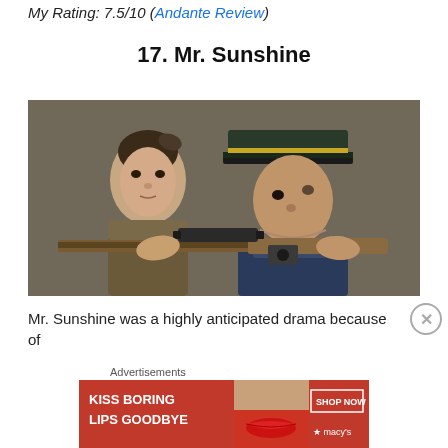My Rating: 7.5/10 (Andante Review)
17. Mr. Sunshine
[Figure (photo): Two actors from the Korean drama Mr. Sunshine — a woman with hair up and a man in military uniform with a cap, both holding a rifle with a scope]
Mr. Sunshine was a highly anticipated drama because of
Advertisements
[Figure (other): Advertisement banner: KISS BORING LIPS GOODBYE with SHOP NOW button and Macy's star logo on red background with woman's face]